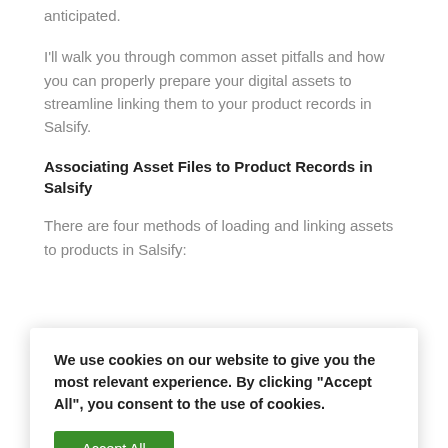anticipated.
I'll walk you through common asset pitfalls and how you can properly prepare your digital assets to streamline linking them to your product records in Salsify.
Associating Asset Files to Product Records in Salsify
There are four methods of loading and linking assets to products in Salsify:
oduct Detail
nd "+Add
tab
populate a
ck to Salsify
We use cookies on our website to give you the most relevant experience. By clicking “Accept All”, you consent to the use of cookies.
04. Upload/Import to Digital Assets and use the